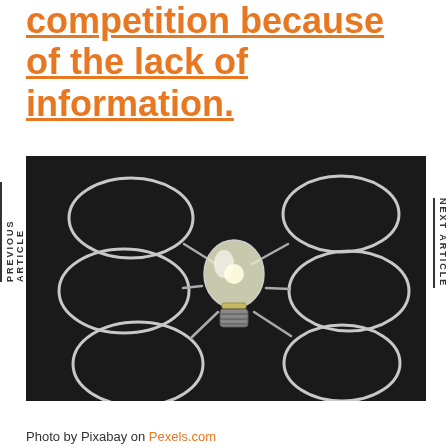competition because of the lack of information.
[Figure (photo): Chalkboard with a real light bulb in the center and six chalk-drawn ovals around it connected by lines, representing an idea mind map.]
Photo by Pixabay on Pexels.com